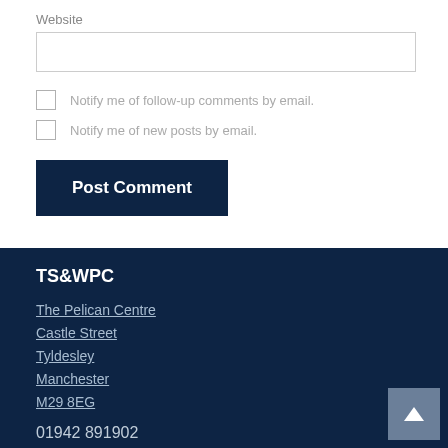Website
Notify me of follow-up comments by email.
Notify me of new posts by email.
Post Comment
TS&WPC
The Pelican Centre
Castle Street
Tyldesley
Manchester
M29 8EG
01942 891902